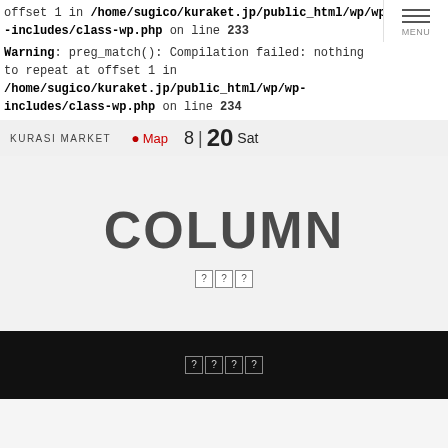offset 1 in /home/sugico/kuraket.jp/public_html/wp/wp-includes/class-wp.php on line 233
Warning: preg_match(): Compilation failed: nothing to repeat at offset 1 in /home/sugico/kuraket.jp/public_html/wp/wp-includes/class-wp.php on line 234
KURASI MARKET  Map  8 | 20 Sat
COLUMN
???
????